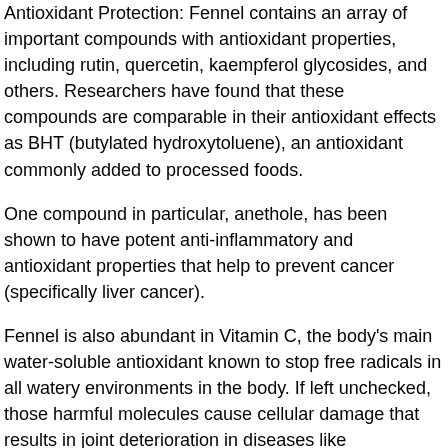Antioxidant Protection: Fennel contains an array of important compounds with antioxidant properties, including rutin, quercetin, kaempferol glycosides, and others. Researchers have found that these compounds are comparable in their antioxidant effects as BHT (butylated hydroxytoluene), an antioxidant commonly added to processed foods.
One compound in particular, anethole, has been shown to have potent anti-inflammatory and antioxidant properties that help to prevent cancer (specifically liver cancer).
Fennel is also abundant in Vitamin C, the body's main water-soluble antioxidant known to stop free radicals in all watery environments in the body. If left unchecked, those harmful molecules cause cellular damage that results in joint deterioration in diseases like osteoarthritis and rheumatoid arthritis. The Vitamin C in fennel has also been shown to have